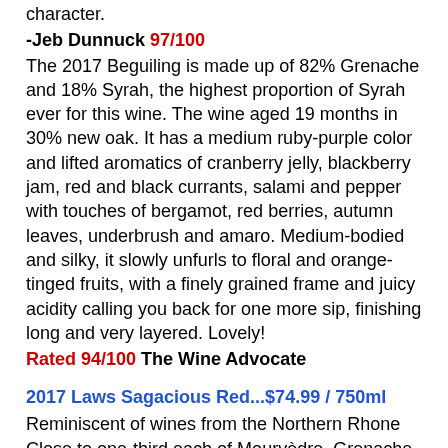character.
-Jeb Dunnuck 97/100
The 2017 Beguiling is made up of 82% Grenache and 18% Syrah, the highest proportion of Syrah ever for this wine. The wine aged 19 months in 30% new oak. It has a medium ruby-purple color and lifted aromatics of cranberry jelly, blackberry jam, red and black currants, salami and pepper with touches of bergamot, red berries, autumn leaves, underbrush and amaro. Medium-bodied and silky, it slowly unfurls to floral and orange-tinged fruits, with a finely grained frame and juicy acidity calling you back for one more sip, finishing long and very layered. Lovely!
Rated 94/100 The Wine Advocate
2017 Laws Sagacious Red...$74.99 / 750ml
Reminiscent of wines from the Northern Rhone
Close to one-third each of Mourvèdre, Grenache, and Syrah (it's slightly Mourvèdre-heavy), the deeper ruby/plum color of the 2017 Sagacious is followed by a meaty, savory red with lots of spiced meat, dried herbs, pepper, violets, and both red and blue fruits. Rich, full-bodied, and beautifully balanced, with plenty of underlying structure, drink it any